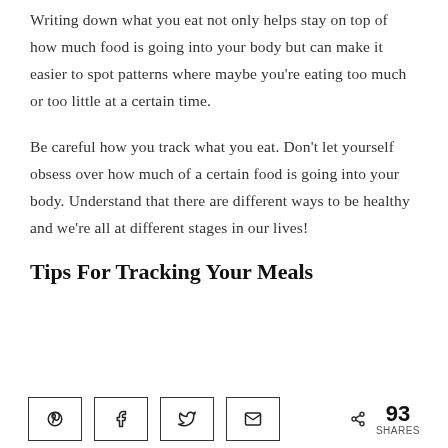Writing down what you eat not only helps stay on top of how much food is going into your body but can make it easier to spot patterns where maybe you're eating too much or too little at a certain time.
Be careful how you track what you eat. Don't let yourself obsess over how much of a certain food is going into your body. Understand that there are different ways to be healthy and we're all at different stages in our lives!
Tips For Tracking Your Meals